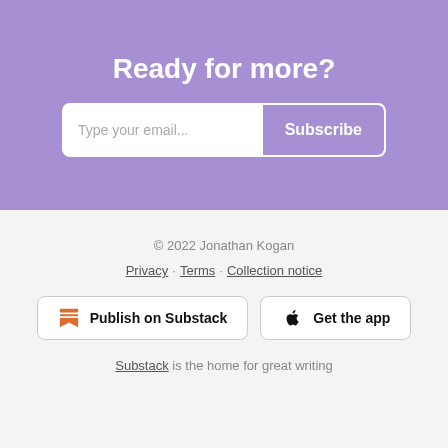Ready for more?
Type your email... Subscribe
© 2022 Jonathan Kogan
Privacy · Terms · Collection notice
Publish on Substack
Get the app
Substack is the home for great writing